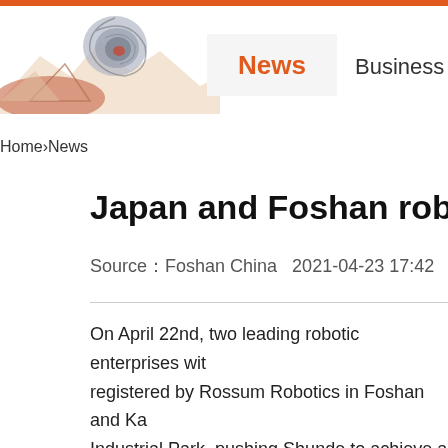News   Business
Home›News
Japan and Foshan robot
Source：Foshan China   2021-04-23 17:42
On April 22nd, two leading robotic enterprises with registered by Rossum Robotics in Foshan and Ka Industrial Park, pushing Shunde to achieve a goa From now on, the two parties will join hands to de